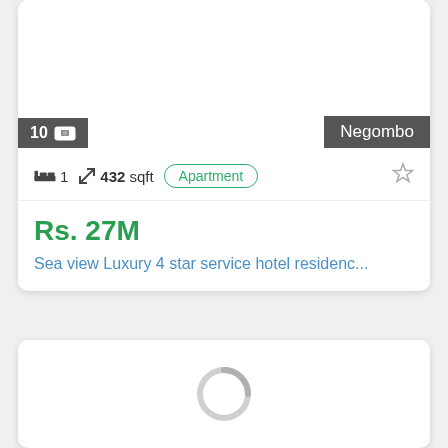[Figure (screenshot): Property listing card showing image area with badge '10' and image icon on bottom left, 'Negombo' location badge on bottom right]
1  432 sqft  Apartment ☆
Rs. 27M
Sea view Luxury 4 star service hotel residenc...
[Figure (screenshot): Second listing card loading with spinner indicator]